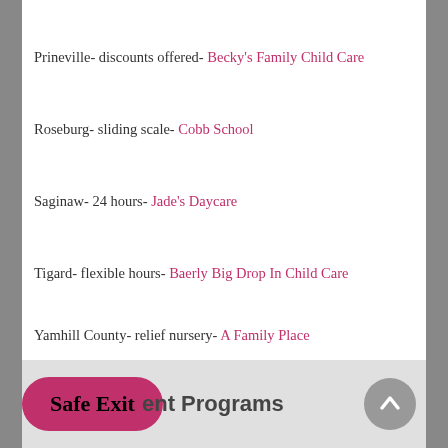Prineville- discounts offered- Becky's Family Child Care
Roseburg- sliding scale- Cobb School
Saginaw- 24 hours- Jade's Daycare
Tigard- flexible hours- Baerly Big Drop In Child Care
Yamhill County- relief nursery- A Family Place
Yamhill County-child care assistance- Project Oasis
Safe Exit  ent Programs